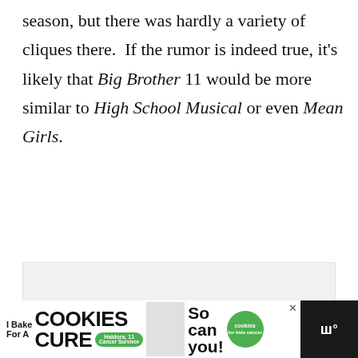season, but there was hardly a variety of cliques there.  If the rumor is indeed true, it's likely that Big Brother 11 would be more similar to High School Musical or even Mean Girls.
[Figure (screenshot): Image carousel placeholder with light gray background, navigation dots at bottom, heart/like/share buttons on the right side]
[Figure (infographic): Advertisement banner: 'I Bake COOKIES For A CURE' with Haldora, 11, Cancer Survivor badge, 'So can you!' text, cookies for kids cancer logo, and close button]